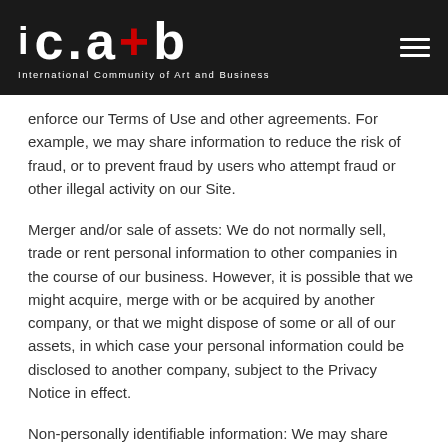i c.a+b International Community of Art and Business
enforce our Terms of Use and other agreements. For example, we may share information to reduce the risk of fraud, or to prevent fraud by users who attempt fraud or other illegal activity on our Site.
Merger and/or sale of assets: We do not normally sell, trade or rent personal information to other companies in the course of our business. However, it is possible that we might acquire, merge with or be acquired by another company, or that we might dispose of some or all of our assets, in which case your personal information could be disclosed to another company, subject to the Privacy Notice in effect.
Non-personally identifiable information: We may share information that does not identify you or any user, such as the